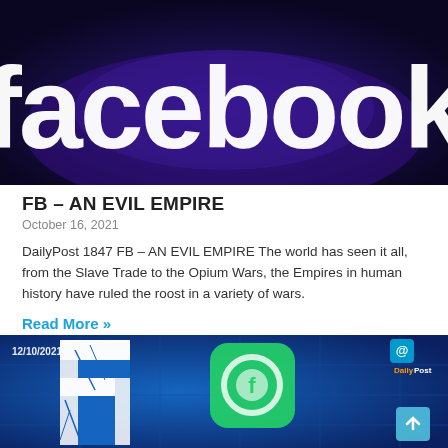[Figure (photo): Facebook logo sign in dark blue/purple lighting, white text 'facebook' visible, partially cropped from top]
FB – AN EVIL EMPIRE
October 16, 2021
DailyPost 1847 FB – AN EVIL EMPIRE The world has seen it all, from the Slave Trade to the Opium Wars, the Empires in human history have ruled the roost in a variety of wars.
Read More »
[Figure (photo): Digital composite image showing cracked Facebook 'f' logo in white on blue circuit board background, with green WhatsApp logo overlay, date 12/10/2021 and DailyPost watermark, scroll-to-top button in corner]